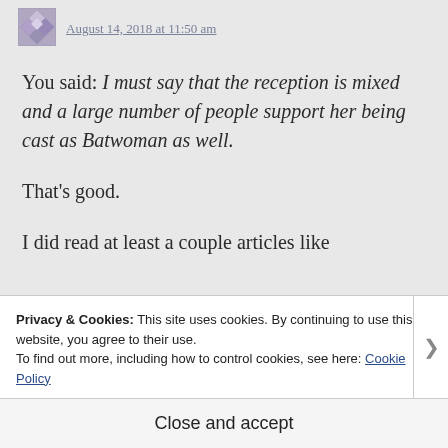[Figure (illustration): User avatar — a purple/grey geometric mosaic square icon]
August 14, 2018 at 11:50 am
You said: I must say that the reception is mixed and a large number of people support her being cast as Batwoman as well.
That's good.
I did read at least a couple articles like
Privacy & Cookies: This site uses cookies. By continuing to use this website, you agree to their use.
To find out more, including how to control cookies, see here: Cookie Policy
Close and accept